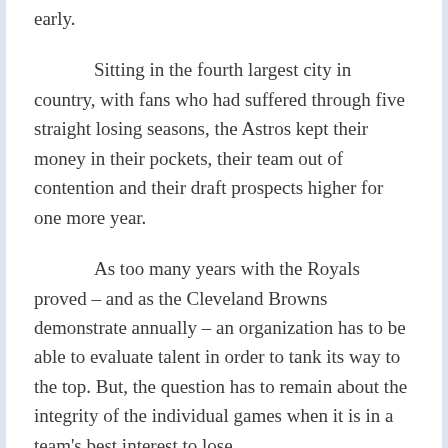early.
Sitting in the fourth largest city in country, with fans who had suffered through five straight losing seasons, the Astros kept their money in their pockets, their team out of contention and their draft prospects higher for one more year.
As too many years with the Royals proved – and as the Cleveland Browns demonstrate annually – an organization has to be able to evaluate talent in order to tank its way to the top. But, the question has to remain about the integrity of the individual games when it is in a team's best interest to lose.